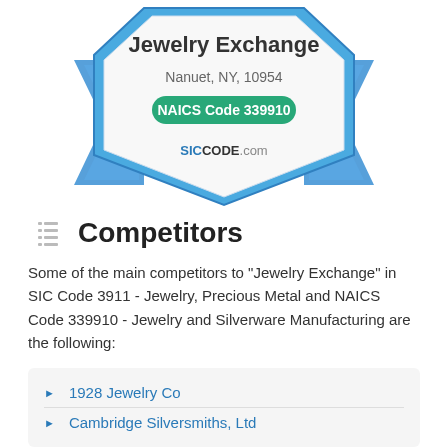[Figure (infographic): Badge/seal graphic for Jewelry Exchange, Nanuet NY 10954, NAICS Code 339910, from SICCode.com. Shows a ribbon-style badge with blue border and ribbon tails, teal/green pill badge with white text 'NAICS Code 339910', and SICCode.com branding.]
Competitors
Some of the main competitors to "Jewelry Exchange" in SIC Code 3911 - Jewelry, Precious Metal and NAICS Code 339910 - Jewelry and Silverware Manufacturing are the following:
1928 Jewelry Co
Cambridge Silversmiths, Ltd